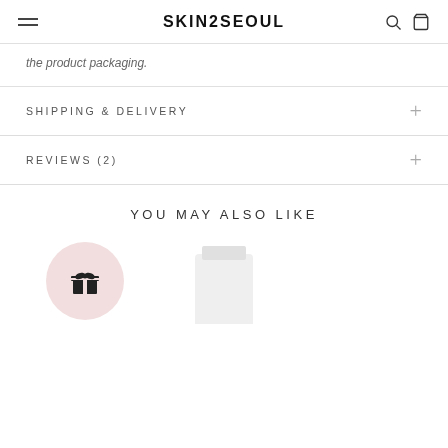SKIN2SEOUL
the product packaging.
SHIPPING & DELIVERY
REVIEWS (2)
YOU MAY ALSO LIKE
[Figure (other): Gift icon inside a pink circle and a white cream tube product thumbnail]
[Figure (photo): White cream tube product thumbnail]